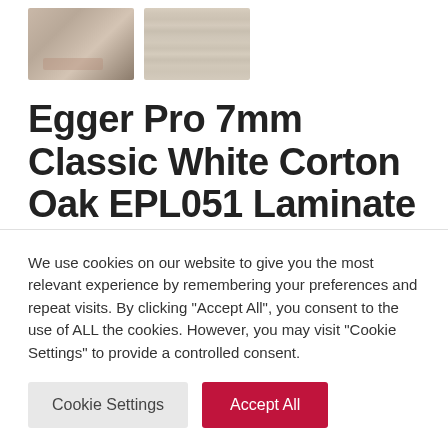[Figure (photo): Two thumbnail images: left shows a room scene with flooring and draped fabric; right shows a close-up wood grain texture of the laminate flooring.]
Egger Pro 7mm Classic White Corton Oak EPL051 Laminate Flooring
We use cookies on our website to give you the most relevant experience by remembering your preferences and repeat visits. By clicking "Accept All", you consent to the use of ALL the cookies. However, you may visit "Cookie Settings" to provide a controlled consent.
Cookie Settings | Accept All